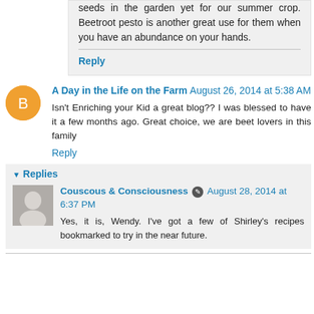seeds in the garden yet for our summer crop. Beetroot pesto is another great use for them when you have an abundance on your hands.
Reply
A Day in the Life on the Farm  August 26, 2014 at 5:38 AM
Isn't Enriching your Kid a great blog?? I was blessed to have it a few months ago. Great choice, we are beet lovers in this family
Reply
Replies
Couscous & Consciousness  August 28, 2014 at 6:37 PM
Yes, it is, Wendy. I've got a few of Shirley's recipes bookmarked to try in the near future.